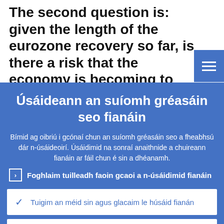The second question is: given the length of the eurozone recovery so far, is there a risk that the economy is becoming to dependent on ECB stimulus?
Úsáideann an suíomh gréasáin seo fianáin
Bímid ag oibriú i gcónaí chun an suíomh gréasáin seo a fheabhsú dár n-úsáideoirí. Úsáidimid na sonraí anaithnide a chuireann fianáin ar fáil chun é sin a dhéanamh.
Foghlaim tuilleadh faoin gcaoi a n-úsáidimid fianáin
Tuigim an méid sin agus glacaim le húsáid fianán
Ní ghlacaim le húsáid fianán